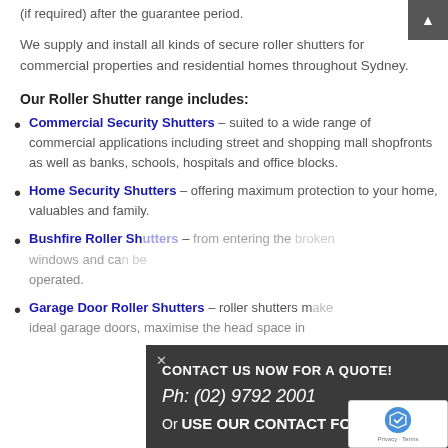(if required) after the guarantee period.
We supply and install all kinds of secure roller shutters for commercial properties and residential homes throughout Sydney.
Our Roller Shutter range includes:
Commercial Security Shutters – suited to a wide range of commercial applications including street and shopping mall shopfronts as well as banks, schools, hospitals and office blocks.
Home Security Shutters – offering maximum protection to your home, valuables and family.
Bushfire Roller Shutters – [partially hidden] from entering the [text obscured] broken windows and ca[n be] operated.
Garage Door Roller Shutters – roller shutters m[ake] ideal garage doors, maximise the head space in[...]
[Figure (infographic): Dark popup overlay with text: CONTACT US NOW FOR A QUOTE! Ph: (02) 9792 2001 Or USE OUR CONTACT FORM. Includes an X close button and a scroll-up arrow.]